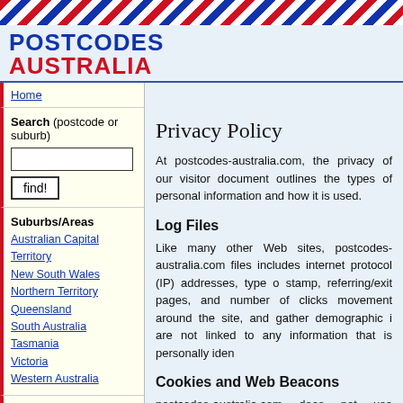[Figure (illustration): Airmail diagonal stripe border at top of page in red, white, and blue]
POSTCODES AUSTRALIA
Home
Search (postcode or suburb)
Suburbs/Areas
Australian Capital Territory
New South Wales
Northern Territory
Queensland
South Australia
Tasmania
Victoria
Western Australia
Privacy Policy
At postcodes-australia.com, the privacy of our visitors is of extreme importance to us. This privacy policy document outlines the types of personal information is received and collected by postcodes-australia.com and how it is used.
Log Files
Like many other Web sites, postcodes-australia.com makes use of log files. The information inside the log files includes internet protocol (IP) addresses, type of browser, Internet Service Provider (ISP), date/time stamp, referring/exit pages, and number of clicks to analyze trends, administer the site, track user's movement around the site, and gather demographic information. IP addresses, and other such information are not linked to any information that is personally identifiable.
Cookies and Web Beacons
postcodes-australia.com does not use cookies.